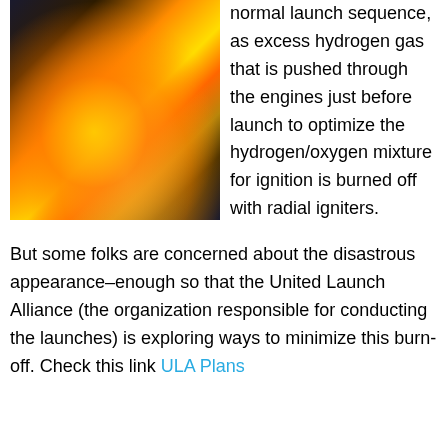[Figure (photo): Rocket launch with large bright orange and yellow flames and smoke at the base of the launch pad structure against a dark sky]
normal launch sequence, as excess hydrogen gas that is pushed through the engines just before launch to optimize the hydrogen/oxygen mixture for ignition is burned off with radial igniters.
But some folks are concerned about the disastrous appearance–enough so that the United Launch Alliance (the organization responsible for conducting the launches) is exploring ways to minimize this burn-off. Check this link ULA Plans